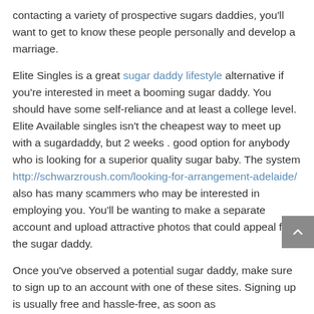contacting a variety of prospective sugars daddies, you'll want to get to know these people personally and develop a marriage.
Elite Singles is a great sugar daddy lifestyle alternative if you're interested in meet a booming sugar daddy. You should have some self-reliance and at least a college level. Elite Available singles isn't the cheapest way to meet up with a sugardaddy, but 2 weeks . good option for anybody who is looking for a superior quality sugar baby. The system http://schwarzroush.com/looking-for-arrangement-adelaide/ also has many scammers who may be interested in employing you. You'll be wanting to make a separate account and upload attractive photos that could appeal for the sugar daddy.
Once you've observed a potential sugar daddy, make sure to sign up to an account with one of these sites. Signing up is usually free and hassle-free, as soon as